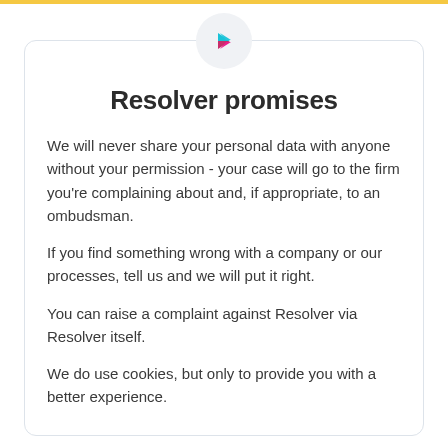[Figure (logo): Resolver logo mark: a chevron/arrow shape with teal top and magenta/pink bottom, inside a light grey circle]
Resolver promises
We will never share your personal data with anyone without your permission - your case will go to the firm you're complaining about and, if appropriate, to an ombudsman.
If you find something wrong with a company or our processes, tell us and we will put it right.
You can raise a complaint against Resolver via Resolver itself.
We do use cookies, but only to provide you with a better experience.